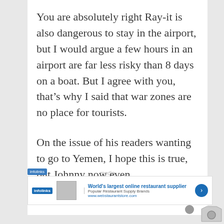You are absolutely right Ray-it is also dangerous to stay in the airport, but I would argue a few hours in an airport are far less risky than 8 days on a boat. But I agree with you, that's why I said that war zones are no place for tourists.
On the issue of his readers wanting to go to Yemen, I hope this is true, but Johnny now even
[Figure (screenshot): Advertisement overlay: infolinks tagged ad for 'World's largest online restaurant supplier' with Popular Restaurant Supply Brands text and www.webstaurantstore.com URL, with blue arrow button]